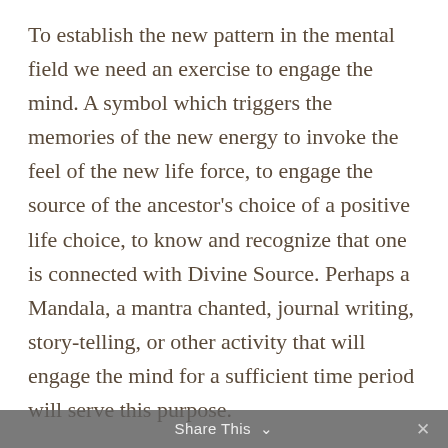To establish the new pattern in the mental field we need an exercise to engage the mind. A symbol which triggers the memories of the new energy to invoke the feel of the new life force, to engage the source of the ancestor's choice of a positive life choice, to know and recognize that one is connected with Divine Source. Perhaps a Mandala, a mantra chanted, journal writing, story-telling, or other activity that will engage the mind for a sufficient time period will serve this purpose.
Then the pattern must be set in the emotional realms. To bind our minds and hearts to a new pattern is essential. Engaging the heart involves our senses and beliefs. ...
Share This ∨  ×